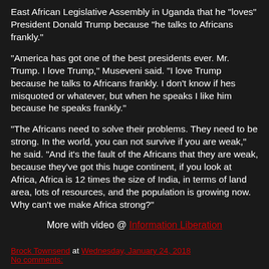East African Legislative Assembly in Uganda that he "loves" President Donald Trump because "he talks to Africans frankly."
"America has got one of the best presidents ever. Mr. Trump. I love Trump," Museveni said. "I love Trump because he talks to Africans frankly. I don't know if hes misquoted or whatever, but when he speaks I like him because he speaks frankly."
"The Africans need to solve their problems. They need to be strong. In the world, you can not survive if you are weak," he said. "And it's the fault of the Africans that they are weak, because they've got this huge continent, if you look at Africa, Africa is 12 times the size of India, in terms of land area, lots of resources, and the population is growing now. Why can't we make Africa strong?"
More with video @ Information Liberation
Brock Townsend at Wednesday, January 24, 2018
No comments: